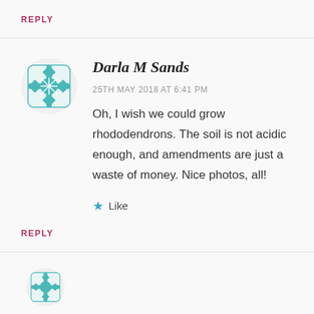REPLY
[Figure (illustration): Teal geometric mandala/snowflake avatar icon for user Darla M Sands]
Darla M Sands
25TH MAY 2018 AT 6:41 PM
Oh, I wish we could grow rhododendrons. The soil is not acidic enough, and amendments are just a waste of money. Nice photos, all!
Like
REPLY
[Figure (illustration): Partial teal geometric avatar icon at bottom, partially cut off]